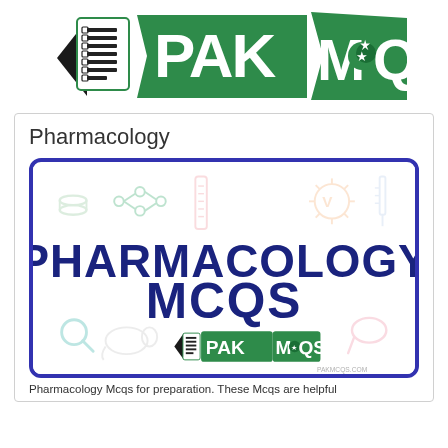[Figure (logo): PakMCQs logo with green banner and checklist icon]
Pharmacology
[Figure (illustration): Pharmacology MCQs banner image with PHARMACOLOGY MCQS text in dark blue bold font, PakMCQs logo at bottom center, and decorative pharmacy/medicine icons on white background with blue border]
Pharmacology Mcqs for preparation. These Mcqs are helpful